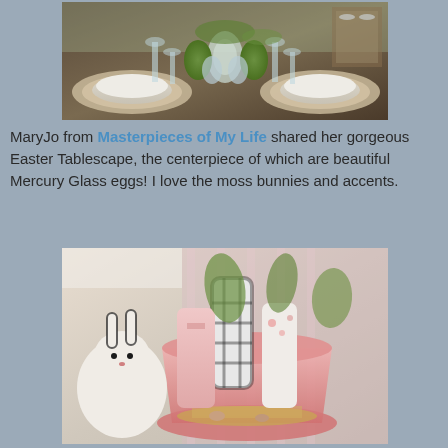[Figure (photo): Easter tablescape with mercury glass eggs, moss bunnies, wicker chargers, crystal glasses, and white plates on a dark wood dining table.]
MaryJo from Masterpieces of My Life shared her gorgeous Easter Tablescape, the centerpiece of which are beautiful Mercury Glass eggs! I love the moss bunnies and accents.
[Figure (photo): Easter basket with stuffed fabric bunnies in plaid and floral patterns, real bunny figurines, grass accents, and decorative straw in a pink metal bucket.]